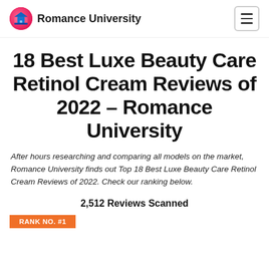Romance University
18 Best Luxe Beauty Care Retinol Cream Reviews of 2022 – Romance University
After hours researching and comparing all models on the market, Romance University finds out Top 18 Best Luxe Beauty Care Retinol Cream Reviews of 2022. Check our ranking below.
2,512 Reviews Scanned
RANK NO. #1